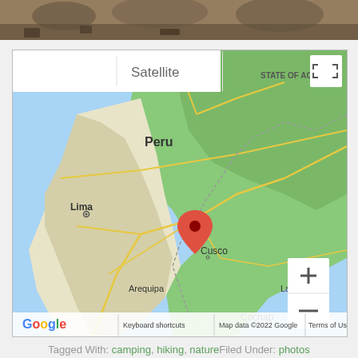[Figure (photo): Top portion of a photo showing rocky/dirt terrain]
[Figure (map): Google Maps screenshot showing Peru with a red location pin near Cusco. Map/Satellite toggle buttons visible at top. Zoom controls (+/-) at bottom right. Labels visible: STATE OF ACRE, Peru, Lima, Cusco, Arequipa, La P, Cochab. Map data ©2022 Google. Keyboard shortcuts. Terms of Use.]
Tagged With: camping, hiking, natureFiled Under: photos